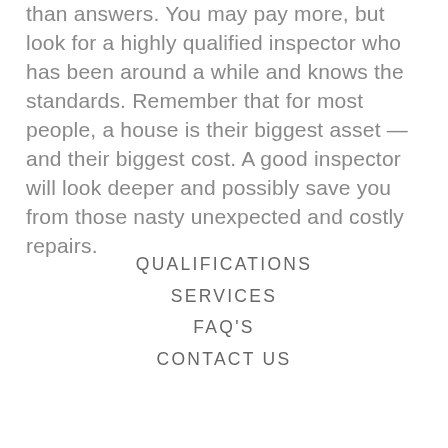than answers. You may pay more, but look for a highly qualified inspector who has been around a while and knows the standards. Remember that for most people, a house is their biggest asset — and their biggest cost. A good inspector will look deeper and possibly save you from those nasty unexpected and costly repairs.
QUALIFICATIONS
SERVICES
FAQ'S
CONTACT US